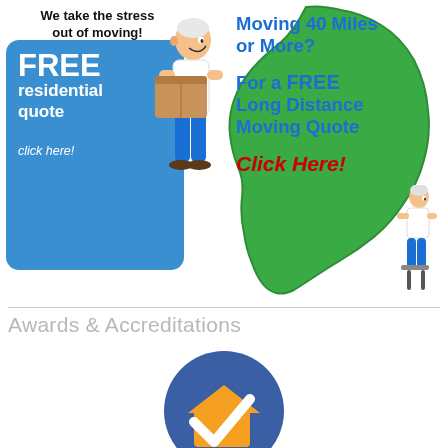[Figure (infographic): Left banner: blue rounded rectangle with white text 'FREE residential quote click here!' and tagline 'We take the stress out of moving!' with cartoon man holding boxes]
[Figure (infographic): Right banner: green Ireland map shape with blue bold text 'Moving 40 Miles or More? For a FREE Long Distance Moving Quote' and red italic 'Click Here!' with cartoon man figure]
Awards & Accreditations
[Figure (logo): Checkatrade logo: blue circle with orange house/box icon and white checkmark]